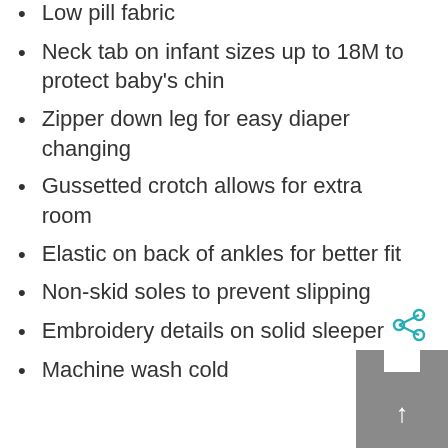Low pill fabric
Neck tab on infant sizes up to 18M to protect baby's chin
Zipper down leg for easy diaper changing
Gussetted crotch allows for extra room
Elastic on back of ankles for better fit
Non-skid soles to prevent slipping
Embroidery details on solid sleeper
Machine wash cold